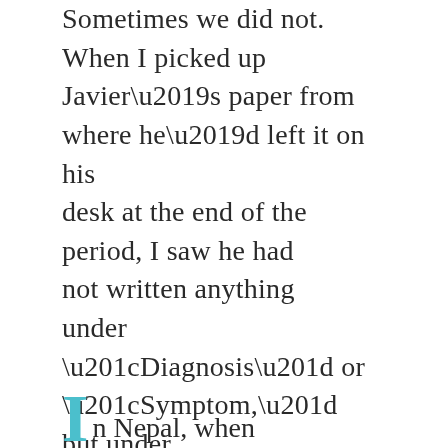Sometimes we did not. When I picked up Javier's paper from where he'd left it on his desk at the end of the period, I saw he had not written anything under “Diagnosis” or “Symptom,” but under “Cure,” he had written: smoke more weed!!!
In Nepal, when